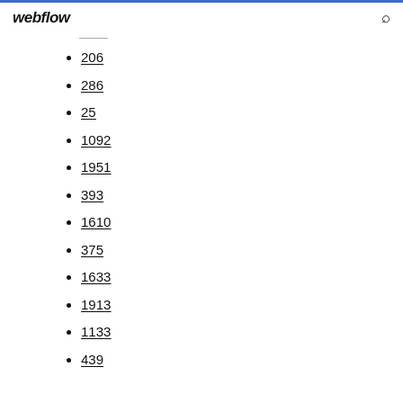webflow
206
286
25
1092
1951
393
1610
375
1633
1913
1133
439